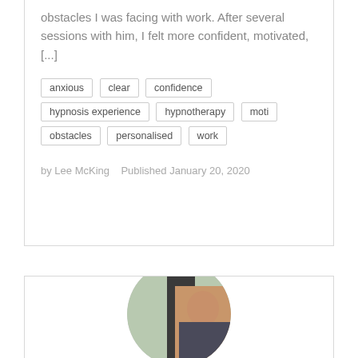obstacles I was facing with work. After several sessions with him, I felt more confident, motivated, [...]
anxious
clear
confidence
hypnosis experience
hypnotherapy
moti
obstacles
personalised
work
by Lee McKing   Published January 20, 2020
[Figure (photo): Circular cropped photo of a person, partially visible, showing a face and upper body against a blurred background.]